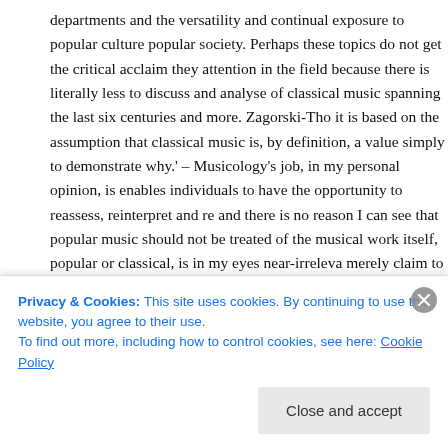departments and the versatility and continual exposure to popular culture popular society. Perhaps these topics do not get the critical acclaim they attention in the field because there is literally less to discuss and analyse of classical music spanning the last six centuries and more. Zagorski-Tho it is based on the assumption that classical music is, by definition, a value simply to demonstrate why.' – Musicology's job, in my personal opinion, is enables individuals to have the opportunity to reassess, reinterpret and re and there is no reason I can see that popular music should not be treated of the musical work itself, popular or classical, is in my eyes near-irrelevant merely claim to fight for classical music's value, it provides debate, interp advances our knowledge of a genre of music that has been hugely influe politics, philosophy, and more, and equally is the foundation on which our came to be formed.
My question to Simon would be to find out how he hopes to see popu
Privacy & Cookies: This site uses cookies. By continuing to use this website, you agree to their use.
To find out more, including how to control cookies, see here: Cookie Policy
Close and accept